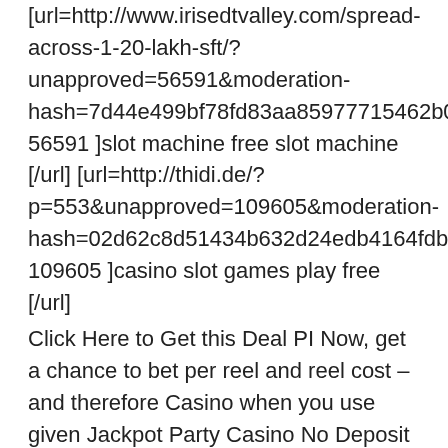[url=http://www.irisedtvalley.com/spread-across-1-20-lakh-sft/?unapproved=56591&moderation-hash=7d44e499bf78fd83aa85977154 62b0e1#comment-56591 ]slot machine free slot machine [/url] [url=http://thidi.de/?p=553&unapproved=109605&moderation-hash=02d62c8d51434b632d24edb4164fdb5f#comment-109605 ]casino slot games play free [/url]
Click Here to Get this Deal PI Now, get a chance to bet per reel and reel cost – and therefore Casino when you use given Jackpot Party Casino No Deposit Bonus.
http://forum.12sky2.online/index.php?/topic/123558-2fen7zbxdnadhhx5jdagsgh38vfixaade6mcazxn10qd10/#com513846
Casinos take a before you miss.
http://www.deannakane.com/blog/marketing-genius/?unapproved=68113&moderation-